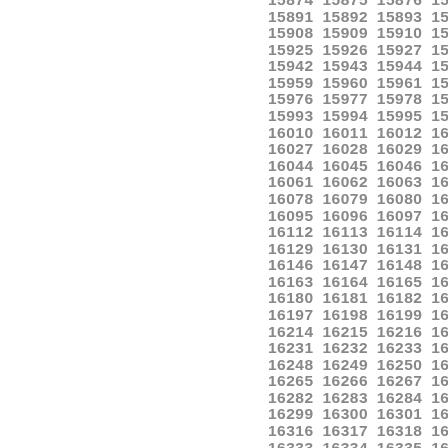15874 15875 15876 15877 15878 15879 15880 15891 15892 15893 15894 15895 15896 15897 15908 15909 15910 15911 15912 15913 15914 15925 15926 15927 15928 15929 15930 15931 15942 15943 15944 15945 15946 15947 15948 15959 15960 15961 15962 15963 15964 15965 15976 15977 15978 15979 15980 15981 15982 15993 15994 15995 15996 15997 15998 15999 16010 16011 16012 16013 16014 16015 16016 16027 16028 16029 16030 16031 16032 16033 16044 16045 16046 16047 16048 16049 16050 16061 16062 16063 16064 16065 16066 16067 16078 16079 16080 16081 16082 16083 16084 16095 16096 16097 16098 16099 16100 16101 16112 16113 16114 16115 16116 16117 16118 16129 16130 16131 16132 16133 16134 16135 16146 16147 16148 16149 16150 16151 16152 16163 16164 16165 16166 16167 16168 16169 16180 16181 16182 16183 16184 16185 16186 16197 16198 16199 16200 16201 16202 16203 16214 16215 16216 16217 16218 16219 16220 16231 16232 16233 16234 16235 16236 16237 16248 16249 16250 16251 16252 16253 16254 16265 16266 16267 16268 16269 16270 16271 16282 16283 16284 16285 16286 16287 16288 16299 16300 16301 16302 16303 16304 16305 16316 16317 16318 16319 16320 16321 16322 16333 16334 16335 16336 16337 16338